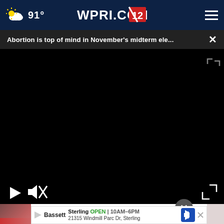91° WPRI.COM 12
Abortion is top of mind in November's midterm ele...
[Figure (screenshot): Video player with black screen, play button, mute button, and fullscreen button]
Mole & Skin Tag Removal
Sterling OPEN | 10AM–6PM 21315 Windmill Parc Dr, Sterling